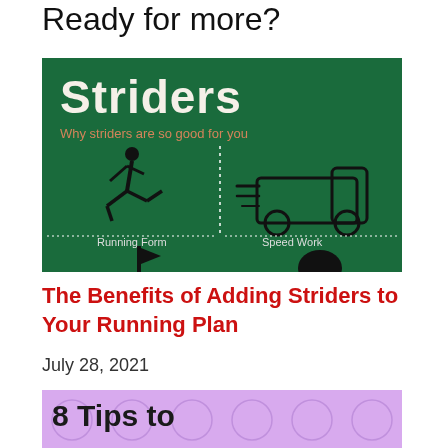Ready for more?
[Figure (infographic): Striders infographic on dark green background showing 'Why striders are so good for you' with silhouettes of a runner (Running Form) and a fast truck (Speed Work)]
The Benefits of Adding Striders to Your Running Plan
July 28, 2021
[Figure (illustration): Purple/lavender background with handwritten-style text reading '8 Tips to Hack a']